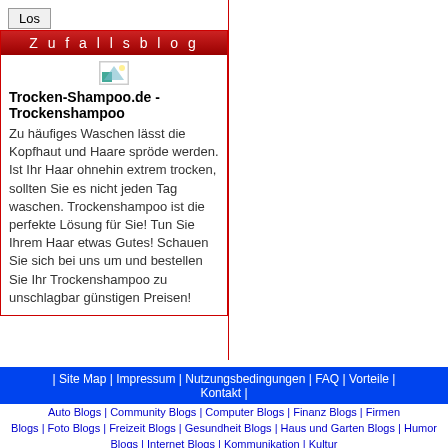Los
Zufallsblog
Trocken-Shampoo.de - Trockenshampoo
Zu häufiges Waschen lässt die Kopfhaut und Haare spröde werden. Ist Ihr Haar ohnehin extrem trocken, sollten Sie es nicht jeden Tag waschen. Trockenshampoo ist die perfekte Lösung für Sie! Tun Sie Ihrem Haar etwas Gutes! Schauen Sie sich bei uns um und bestellen Sie Ihr Trockenshampoo zu unschlagbar günstigen Preisen!
| Site Map | Impressum | Nutzungsbedingungen | FAQ | Vorteile | Kontakt |
Auto Blogs | Community Blogs | Computer Blogs | Finanz Blogs | Firmen Blogs | Foto Blogs | Freizeit Blogs | Gesundheit Blogs | Haus und Garten Blogs | Humor Blogs | Internet Blogs | Kommunikation | Kultur Blogs | Kunst Blogs | Literatur Blogs | Musik Blogs | News Blogs | Politik Blogs | Reisen Blogs | SEO Blogs | Sonstige Blogs | Spiele Blogs | Sport Blogs | Städte Blogs | Tagebuch Blogs | Tiere Blogs | TV - Film